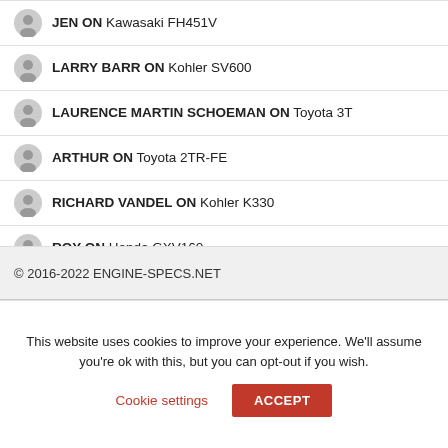JEN ON Kawasaki FH451V
LARRY BARR ON Kohler SV600
LAURENCE MARTIN SCHOEMAN ON Toyota 3T
ARTHUR ON Toyota 2TR-FE
RICHARD VANDEL ON Kohler K330
ROY ON Honda GXV160
© 2016-2022 ENGINE-SPECS.NET
This website uses cookies to improve your experience. We'll assume you're ok with this, but you can opt-out if you wish.
Cookie settings    ACCEPT